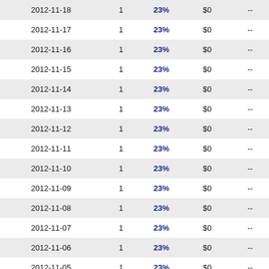| 2012-11-18 | 1 | 23% | $0 | -- |
| 2012-11-17 | 1 | 23% | $0 | -- |
| 2012-11-16 | 1 | 23% | $0 | -- |
| 2012-11-15 | 1 | 23% | $0 | -- |
| 2012-11-14 | 1 | 23% | $0 | -- |
| 2012-11-13 | 1 | 23% | $0 | -- |
| 2012-11-12 | 1 | 23% | $0 | -- |
| 2012-11-11 | 1 | 23% | $0 | -- |
| 2012-11-10 | 1 | 23% | $0 | -- |
| 2012-11-09 | 1 | 23% | $0 | -- |
| 2012-11-08 | 1 | 23% | $0 | -- |
| 2012-11-07 | 1 | 23% | $0 | -- |
| 2012-11-06 | 1 | 23% | $0 | -- |
| 2012-11-05 | 1 | 23% | $0 | -- |
| 2012-11-04 | 1 | 23% | $0 | -- |
| 2012-11-03 | 1 | 23% | $0 | -- |